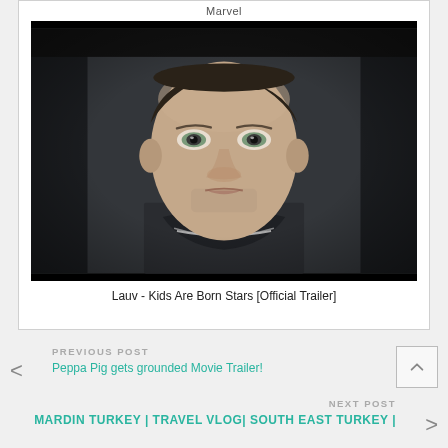Marvel
[Figure (photo): Close-up portrait of a young man with light eyes wearing a dark top and a necklace, against a dark blurred background. Still from 'Lauv - Kids Are Born Stars [Official Trailer]'.]
Lauv - Kids Are Born Stars [Official Trailer]
PREVIOUS POST
Peppa Pig gets grounded Movie Trailer!
NEXT POST
MARDIN TURKEY | TRAVEL VLOG| SOUTH EAST TURKEY |